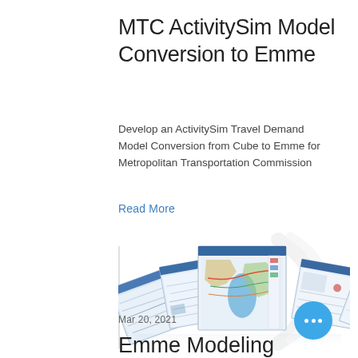MTC ActivitySim Model Conversion to Emme
Develop an ActivitySim Travel Demand Model Conversion from Cube to Emme for Metropolitan Transportation Commission
Read More
[Figure (screenshot): Multiple Emme software interface screenshots fanned out showing transportation network maps with colored routes and analysis panels]
Mar 20, 2021
Emme Modeling Training